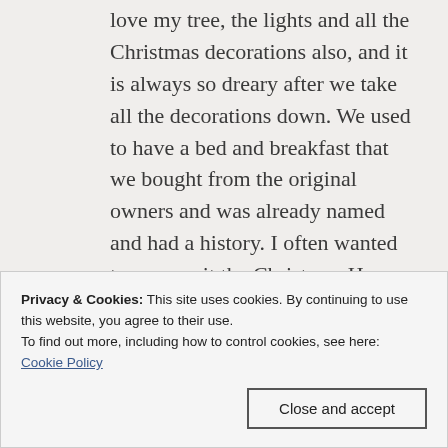love my tree, the lights and all the Christmas decorations also, and it is always so dreary after we take all the decorations down. We used to have a bed and breakfast that we bought from the original owners and was already named and had a history. I often wanted to rename it the Christmas House and leave my decorations up all year. Will remember the winter tree for next year as I start to collect things to
Privacy & Cookies: This site uses cookies. By continuing to use this website, you agree to their use.
To find out more, including how to control cookies, see here:
Cookie Policy
Close and accept